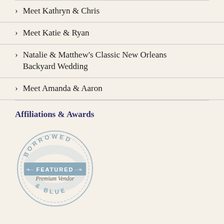Meet Kathryn & Chris
Meet Katie & Ryan
Natalie & Matthew's Classic New Orleans Backyard Wedding
Meet Amanda & Aaron
Affiliations & Awards
[Figure (logo): Borrowed & Blue circular badge with text 'BORROWED', 'FEATURED Premium Vendor', '& BLUE' in blue-grey tones]